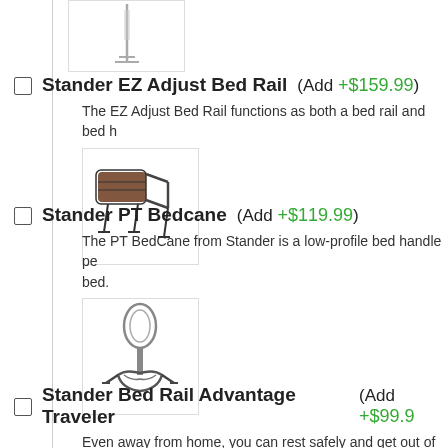[Figure (photo): Partial product image at top of page, appears to be a bed support pole/stand]
Stander EZ Adjust Bed Rail  (Add +$159.99)
The EZ Adjust Bed Rail functions as both a bed rail and bed h
[Figure (photo): Product image of the Stander EZ Adjust Bed Rail showing a padded rail with metal frame and legs]
Stander PT Bedcane  (Add +$119.99)
The PT BedCane from Stander is a low-profile bed handle pe bed.
[Figure (photo): Product image of the Stander PT Bedcane showing a handle with base straps]
Stander Bed Rail Advantage Traveler  (Add +$99.9
Even away from home, you can rest safely and get out of bed